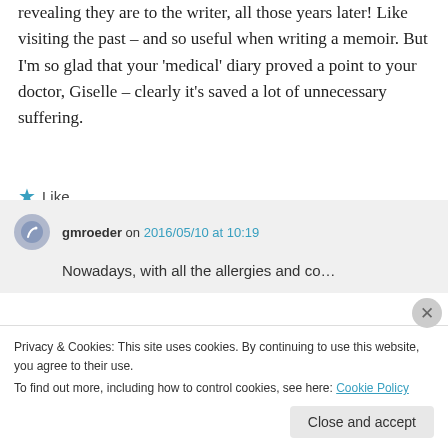revealing they are to the writer, all those years later! Like visiting the past – and so useful when writing a memoir. But I'm so glad that your 'medical' diary proved a point to your doctor, Giselle – clearly it's saved a lot of unnecessary suffering.
★ Like
gmroeder on 2016/05/10 at 10:19
Nowadays, with all the allergies and co…
Privacy & Cookies: This site uses cookies. By continuing to use this website, you agree to their use.
To find out more, including how to control cookies, see here: Cookie Policy
Close and accept